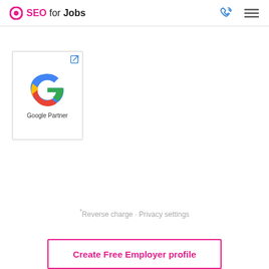SEO for Jobs
[Figure (logo): Google Partner badge with Google G logo and text 'Google Partner']
*Reverse charge · Privacy settings
Create Free Employer profile